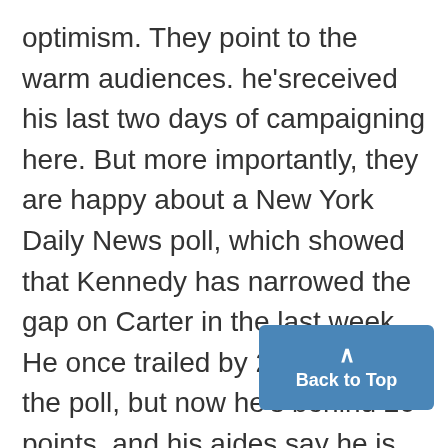optimism. They point to the warm audiences. he'sreceived his last two days of campaigning here. But more importantly, they are happy about a New York Daily News poll, which showed that Kennedy has narrowed the gap on Carter in the last week. He once trailed by 27 points in the poll, but now he's behind 20 points, and his aides say he is climbing quickly. Thomas Southwick, Kennedy's press secretary, says he doesn't expe[ct] ... but does forecast a closer race [than the]